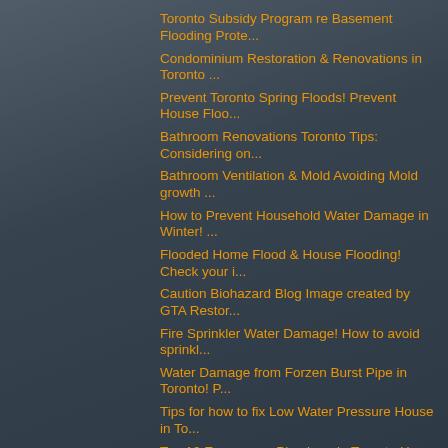Toronto Subsidy Program re Basement Flooding Prote...
Condominium Restoration & Renovations in Toronto ...
Prevent Toronto Spring Floods! Prevent House Floo...
Bathroom Renovations Toronto Tips: Considering on...
Bathroom Ventilation & Mold Avoiding Mold growth ...
How to Prevent Household Water Damage in Winter! ...
Flooded Home Flood & House Flooding! Check your i...
Caution Biohazard Blog Image created by GTA Restor...
Fire Sprinkler Water Damage! How to avoid sprinkl...
Water Damage from Forzen Burst Pipe in Toronto! P...
Tips for how to fix Low Water Pressure House in To...
Top 10 Emergency Plumbers in Toronto How to Preve...
How to best avoid water damage in your condo! How...
Flooded Basement and Water Damage Laminate Floor f...
► September (51)
► June (1)
► February (2)